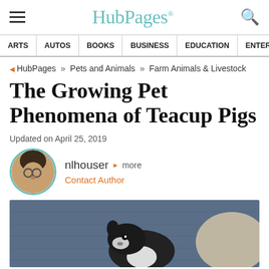HubPages
ARTS | AUTOS | BOOKS | BUSINESS | EDUCATION | ENTERTA
HubPages » Pets and Animals » Farm Animals & Livestock
The Growing Pet Phenomena of Teacup Pigs
Updated on April 25, 2019
nlhouser ▶ more
Contact Author
[Figure (photo): A small teacup pig resting against a person, black and white coloring, viewed from above.]